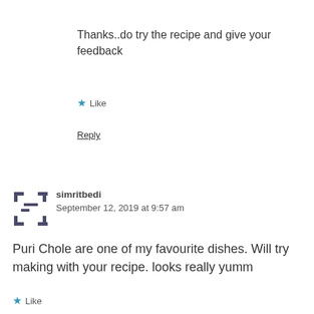Thanks..do try the recipe and give your feedback
★ Like
Reply
simritbedi
September 12, 2019 at 9:57 am
Puri Chole are one of my favourite dishes. Will try making with your recipe. looks really yumm
★ Like